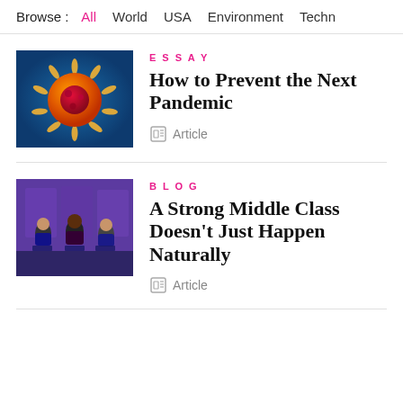Browse : All  World  USA  Environment  Techn
[Figure (illustration): Coronavirus particle illustration on blue background, orange and red with spikes]
ESSAY
How to Prevent the Next Pandemic
Article
[Figure (photo): People seated on stage at an event with purple background]
BLOG
A Strong Middle Class Doesn't Just Happen Naturally
Article